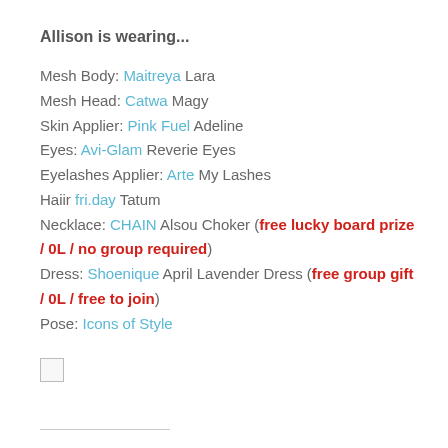Allison is wearing...
Mesh Body: Maitreya Lara
Mesh Head: Catwa Magy
Skin Applier: Pink Fuel Adeline
Eyes: Avi-Glam Reverie Eyes
Eyelashes Applier: Arte My Lashes
Haiir fri.day Tatum
Necklace: CHAIN Alsou Choker (free lucky board prize / 0L / no group required)
Dress: Shoenique April Lavender Dress (free group gift / 0L / free to join)
Pose: Icons of Style
[Figure (other): Broken image placeholder icon]